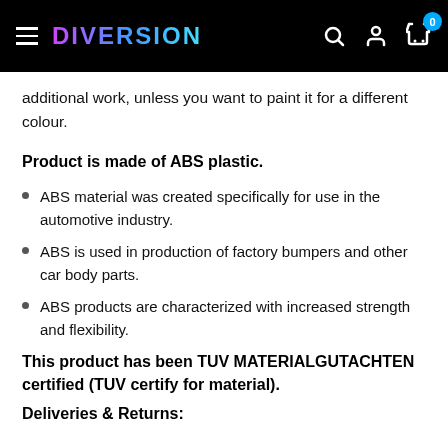DIVERSION
additional work, unless you want to paint it for a different colour.
Product is made of ABS plastic.
ABS material was created specifically for use in the automotive industry.
ABS is used in production of factory bumpers and other car body parts.
ABS products are characterized with increased strength and flexibility.
This product has been TUV MATERIALGUTACHTEN certified (TUV certify for material).
Deliveries & Returns: